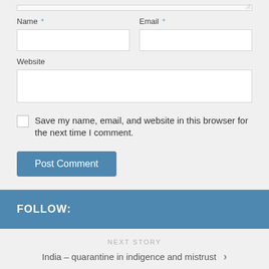Name *
Email *
Website
Save my name, email, and website in this browser for the next time I comment.
Post Comment
FOLLOW:
NEXT STORY
India – quarantine in indigence and mistrust